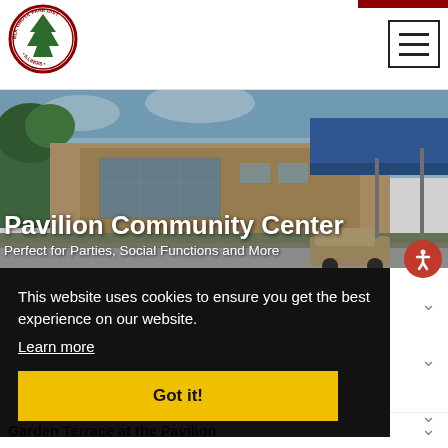[Figure (logo): Elk Grove Park District Illinois circular seal/logo with green tree and red border text]
[Figure (photo): Pavilion Community Center building exterior photo with trees and cars]
Pavilion Community Center
Perfect for Parties, Social Functions and More
This website uses cookies to ensure you get the best experience on our website.
Learn more
Got it!
Garden Terrace at the Pavilion